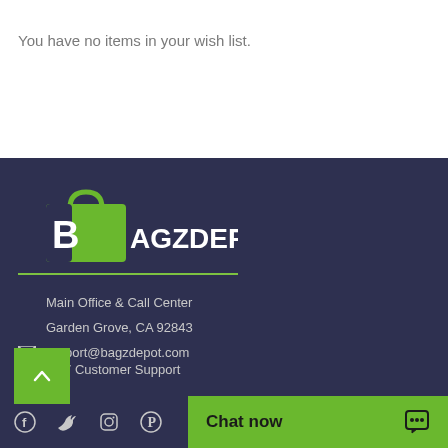You have no items in your wish list.
[Figure (logo): BagzDepot logo: green shopping bag with bold B letter and text BAGZDEPOT in white/green on dark background]
Main Office & Call Center
Garden Grove, CA 92843
✉ support@bagzdepot.com
24/7 Customer Support
Facebook  Twitter  Instagram  Pinterest  Chat now